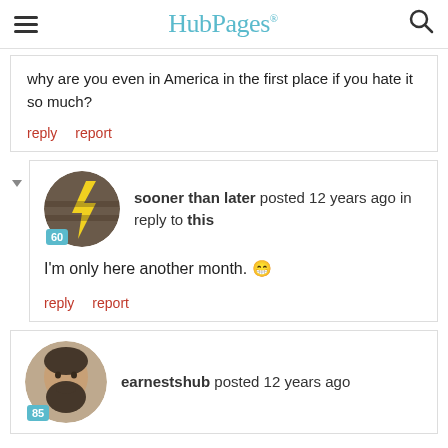HubPages
why are you even in America in the first place if you hate it so much?
reply   report
sooner than later posted 12 years ago in reply to this
I'm only here another month. 😁
reply   report
earnestshub posted 12 years ago